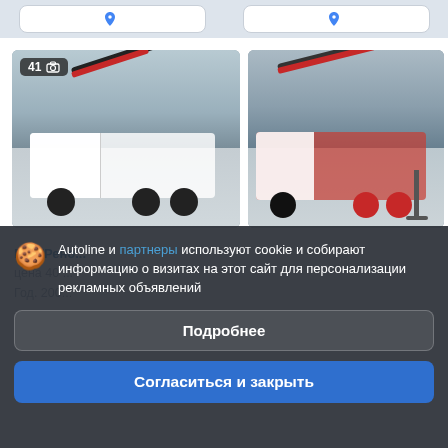[Figure (screenshot): Map strip at top with two location cards and map pins]
[Figure (photo): Crane truck vehicle listing photo - left image, white truck with red crane arm, 41 photos badge]
[Figure (photo): Crane truck vehicle listing photo - right image, same truck from different angle, red and white]
Autoline и партнеры используют cookie и собирают информацию о визитах на этот сайт для персонализации рекламных объявлений
Подробнее
Согласиться и закрыть